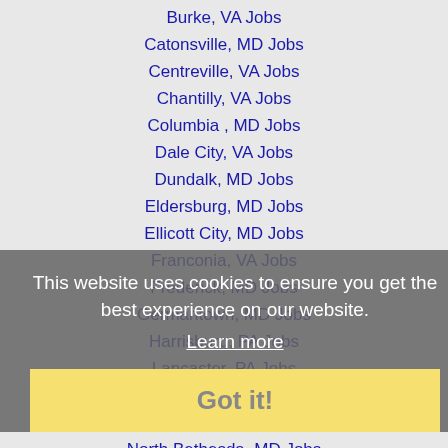Burke, VA Jobs
Catonsville, MD Jobs
Centreville, VA Jobs
Chantilly, VA Jobs
Columbia , MD Jobs
Dale City, VA Jobs
Dundalk, MD Jobs
Eldersburg, MD Jobs
Ellicott City, MD Jobs
Franconia, VA Jobs
Frederick, MD Jobs
Germantown, MD Jobs
Harrisburg, PA Jobs
Lancaster, PA Jobs
Leesburg, VA Jobs
Montgomery Village, MD Jobs
North Bethesda, MD Jobs
Olney, MD Jobs
This website uses cookies to ensure you get the best experience on our website.
Learn more
Got it!